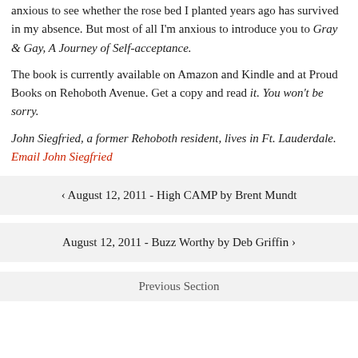anxious to see whether the rose bed I planted years ago has survived in my absence. But most of all I'm anxious to introduce you to Gray & Gay, A Journey of Self-acceptance.
The book is currently available on Amazon and Kindle and at Proud Books on Rehoboth Avenue. Get a copy and read it. You won't be sorry.
John Siegfried, a former Rehoboth resident, lives in Ft. Lauderdale. Email John Siegfried
‹ August 12, 2011 - High CAMP by Brent Mundt
August 12, 2011 - Buzz Worthy by Deb Griffin ›
Previous Section